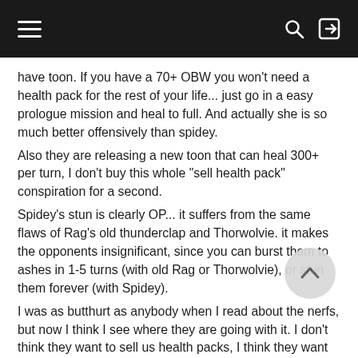have toon. If you have a 70+ OBW you won't need a health pack for the rest of your life... just go in a easy prologue mission and heal to full. And actually she is so much better offensively than spidey.
Also they are releasing a new toon that can heal 300+ per turn, I don't buy this whole "sell health pack" conspiration for a second.
Spidey's stun is clearly OP... it suffers from the same flaws of Rag's old thunderclap and Thorwolvie. it makes the opponents insignificant, since you can burst them to ashes in 1-5 turns (with old Rag or Thorwolvie), or stun them forever (with Spidey).
I was as butthurt as anybody when I read about the nerfs, but now I think I see where they are going with it. I don't think they want to sell us health packs, I think they want to make matches significant and strategic.